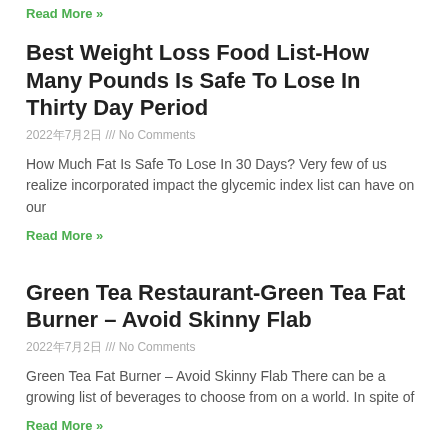Read More »
Best Weight Loss Food List-How Many Pounds Is Safe To Lose In Thirty Day Period
2022年7月2日 /// No Comments
How Much Fat Is Safe To Lose In 30 Days? Very few of us realize incorporated impact the glycemic index list can have on our
Read More »
Green Tea Restaurant-Green Tea Fat Burner – Avoid Skinny Flab
2022年7月2日 /// No Comments
Green Tea Fat Burner – Avoid Skinny Flab There can be a growing list of beverages to choose from on a world. In spite of
Read More »
When making love the woman is always barking but